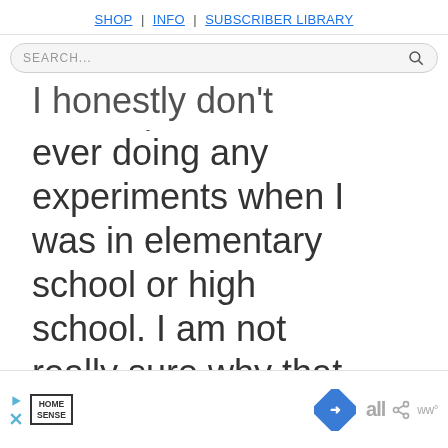SHOP | INFO | SUBSCRIBER LIBRARY
SEARCH...
I honestly don't remember ever doing any experiments when I was in elementary school or high school. I am not really sure why that is. I just remember a whole lot of boring. Thankfully, our homeschool science courses
[Figure (other): Advertisement banner at bottom of page with Home Sense logo, play and close icons, a blue diamond navigation icon, and social sharing icons]